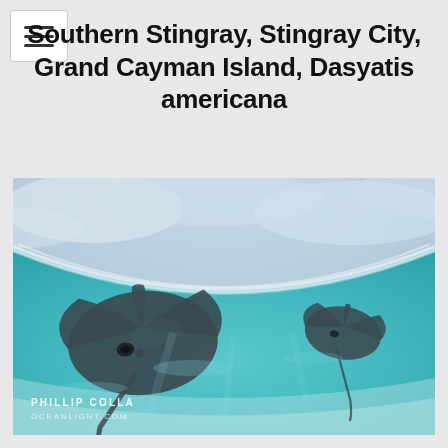Southern Stingray, Stingray City, Grand Cayman Island, Dasyatis americana
[Figure (photo): Underwater wide-angle photograph of two southern stingrays (Dasyatis americana) gliding over a white sandy bottom in clear turquoise water at Stingray City, Grand Cayman Island. The water surface is visible above, creating a curved arc splitting sky and water. Photographer watermark: PHILLIP COLLA / OceanLight.com in lower left corner.]